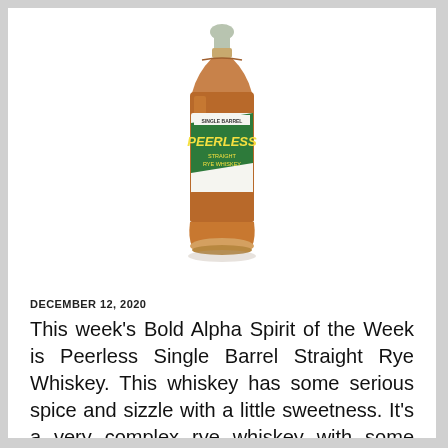[Figure (photo): A bottle of Peerless Single Barrel Straight Rye Whiskey with a green label and cork stopper, amber-colored whiskey visible inside.]
DECEMBER 12, 2020
This week’s Bold Alpha Spirit of the Week is Peerless Single Barrel Straight Rye Whiskey. This whiskey has some serious spice and sizzle with a little sweetness. It’s a very complex rye whiskey with some lingering heat on the tip of the tongue from the barrel strength.